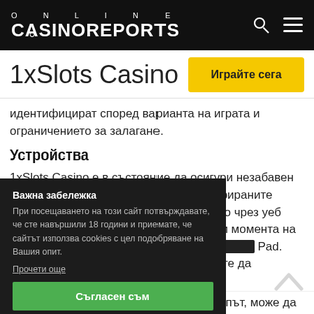ONLINE CASINOREPORTS
1xSlots Casino
идентифицират според варианта на играта и ограничението за залагане.
Устройства
1xSlots Casino е в състояние да осигури незабавен достъп за мобилните геймъри. Регистрираните играчи могат да отилат в 1xSlots Casino чрез уеб браузъра си … играят. Към момента на … ни платформи включват … Pad. Като алтернатива, … да продължите да … а.
Важна забележка
При посещаването на този сайт потвърждавате, че сте навършили 18 години и приемате, че сайтът използва cookies с цел подобряване на Вашия опит.
Прочети още
Съгласен съм
Онези, които правят депозит за първи път, може да